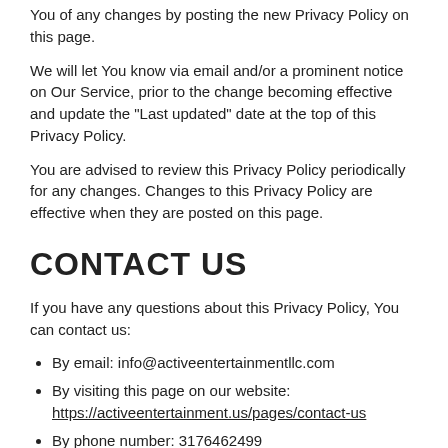You of any changes by posting the new Privacy Policy on this page.
We will let You know via email and/or a prominent notice on Our Service, prior to the change becoming effective and update the "Last updated" date at the top of this Privacy Policy.
You are advised to review this Privacy Policy periodically for any changes. Changes to this Privacy Policy are effective when they are posted on this page.
CONTACT US
If you have any questions about this Privacy Policy, You can contact us:
By email: info@activeentertainmentllc.com
By visiting this page on our website: https://activeentertainment.us/pages/contact-us
By phone number: 3176462499